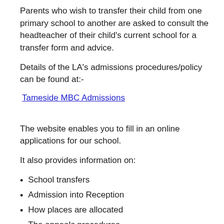Parents who wish to transfer their child from one primary school to another are asked to consult the headteacher of their child's current school for a transfer form and advice.
Details of the LA's admissions procedures/policy can be found at:-
Tameside MBC Admissions
The website enables you to fill in an online applications for our school.
It also provides information on:
School transfers
Admission into Reception
How places are allocated
The appeals procedures
Free School Meals
Zero Fee Bus Passes